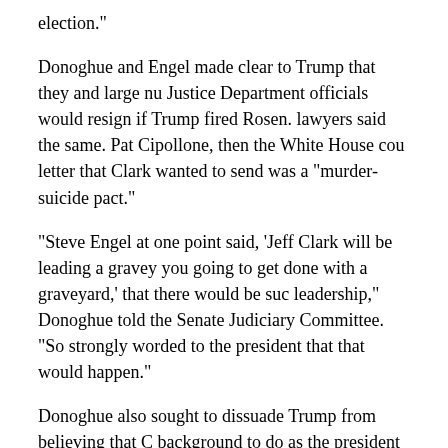election."
Donoghue and Engel made clear to Trump that they and large numbers of Justice Department officials would resign if Trump fired Rosen. White House lawyers said the same. Pat Cipollone, then the White House counsel, said the letter that Clark wanted to send was a "murder-suicide pact."
"Steve Engel at one point said, 'Jeff Clark will be leading a graveyard. What are you going to get done with a graveyard,' that there would be such a loss of leadership," Donoghue told the Senate Judiciary Committee. "So we conveyed very strongly worded to the president that that would happen."
Donoghue also sought to dissuade Trump from believing that Clark had the background to do as the president wished since he was not a criminal lawyer at the department.
"And he kind of retorted by saying, 'Well, I've done a lot of very complex appeals and civil litigation, environmental litigation, and things like that,' " Donoghue said. "And I said, 'That's right. You're an environmental lawyer. How about you go back to your office, and we'll call you when there's s